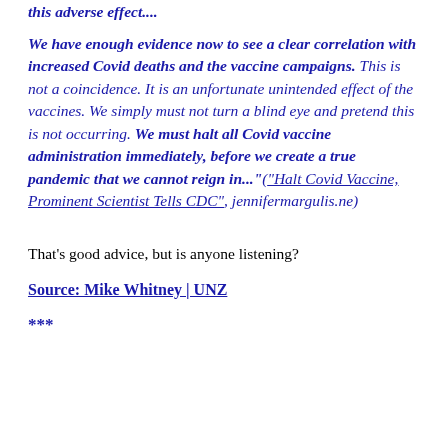this adverse effect....
We have enough evidence now to see a clear correlation with increased Covid deaths and the vaccine campaigns. This is not a coincidence. It is an unfortunate unintended effect of the vaccines. We simply must not turn a blind eye and pretend this is not occurring. We must halt all Covid vaccine administration immediately, before we create a true pandemic that we cannot reign in...“(“Halt Covid Vaccine, Prominent Scientist Tells CDC”, jennifermargulis.ne)
That’s good advice, but is anyone listening?
Source: Mike Whitney | UNZ
***